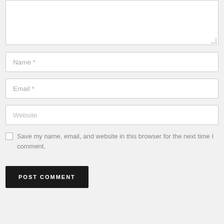[Figure (screenshot): A comment form with a textarea (partially visible at top), Name field, Email field, Website field, a save checkbox, and a POST COMMENT button.]
Name *
Email *
Website
Save my name, email, and website in this browser for the next time I comment.
POST COMMENT